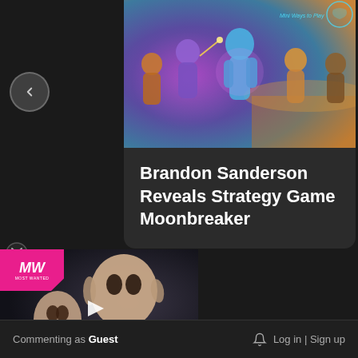[Figure (screenshot): Game artwork for Moonbreaker showing colorful fantasy/sci-fi characters against a purple and blue background, with 'Mini Ways to Play' text in top-right corner]
Brandon Sanderson Reveals Strategy Game Moonbreaker
[Figure (screenshot): Video thumbnail with MW logo (pink/magenta), showing an alien humanoid character, with play button overlay and text 'BEST RETRO SWITCH GAMES']
Commenting as Guest
Log in | Sign up